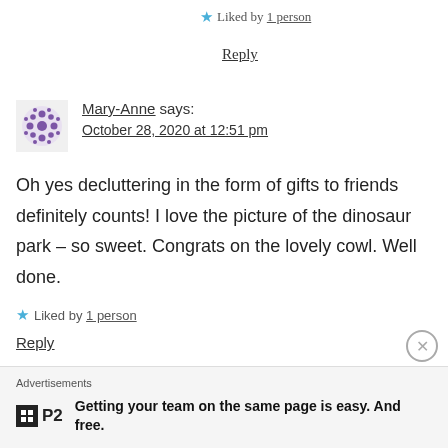★ Liked by 1 person
Reply
Mary-Anne says: October 28, 2020 at 12:51 pm
Oh yes decluttering in the form of gifts to friends definitely counts! I love the picture of the dinosaur park – so sweet. Congrats on the lovely cowl. Well done.
★ Liked by 1 person
Reply
Advertisements
Getting your team on the same page is easy. And free.